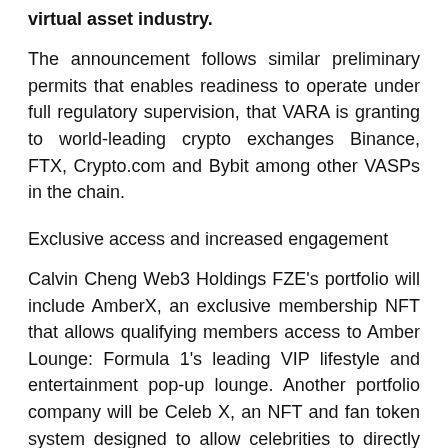virtual asset industry.
The announcement follows similar preliminary permits that enables readiness to operate under full regulatory supervision, that VARA is granting to world-leading crypto exchanges Binance, FTX, Crypto.com and Bybit among other VASPs in the chain.
Exclusive access and increased engagement
Calvin Cheng Web3 Holdings FZE's portfolio will include AmberX, an exclusive membership NFT that allows qualifying members access to Amber Lounge: Formula 1's leading VIP lifestyle and entertainment pop-up lounge. Another portfolio company will be Celeb X, an NFT and fan token system designed to allow celebrities to directly engage with their social media followers, and in turn, for the fans to access exclusive benefits with celebrities including models, actors,